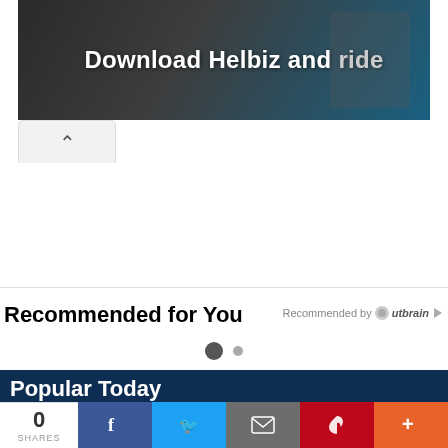[Figure (photo): Advertisement banner for Helbiz showing bicycle handlebars with text 'Download Helbiz and ride']
Recommended for You
Recommended by Outbrain
Popular Today
[Figure (photo): Thumbnail photo of Mithali Raj in cricket uniform holding a trophy]
Mithali Raj Age, Husband Name, Marriage, Boyfriend, Marital Status, Family, Cricketer, Virat Kohli, Dorai Raj, Images, Photos,
0 SHARES